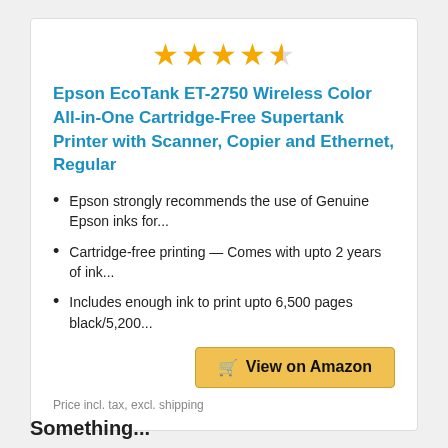[Figure (other): Star rating showing 4.5 out of 5 stars in gold/yellow color]
Epson EcoTank ET-2750 Wireless Color All-in-One Cartridge-Free Supertank Printer with Scanner, Copier and Ethernet, Regular
Epson strongly recommends the use of Genuine Epson inks for...
Cartridge-free printing — Comes with upto 2 years of ink...
Includes enough ink to print upto 6,500 pages black/5,200...
View on Amazon
Price incl. tax, excl. shipping
Something...